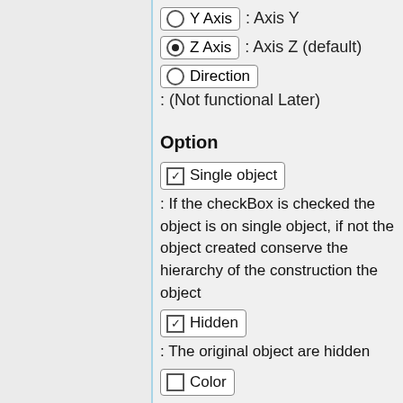Y Axis : Axis Y
Z Axis : Axis Z (default)
Direction : (Not functional Later)
Option
Single object : If the checkBox is checked the object is on single object, if not the object created conserve the hierarchy of the construction the object
Hidden : The original object are hidden
Color : If it checked the object resultant is coloured in red
Command